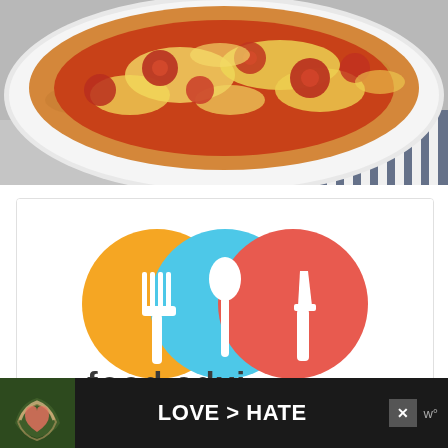[Figure (photo): Close-up photo of a pepperoni/tomato pizza on a white plate with a blue and white striped cloth napkin underneath, placed on a gray surface. The pizza is visible in the upper portion of the image.]
[Figure (logo): Food website or app logo showing three overlapping circles: orange circle with a white fork icon, light blue circle with a white spoon icon, and red/coral circle with a white knife icon. Partial text below the circles is cut off.]
[Figure (photo): Advertisement banner at the bottom of the page with dark background showing hands making a heart shape on the left, bold white text 'LOVE > HATE' in the center, an X close button, and a 'w°' wordmark on the right.]